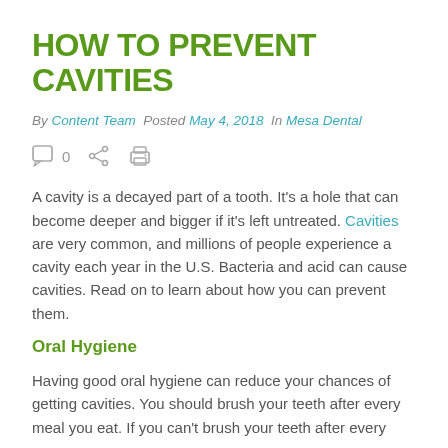HOW TO PREVENT CAVITIES
By Content Team  Posted May 4, 2018  In Mesa Dental
[Figure (other): Social sharing icons: comment (0), share, print]
A cavity is a decayed part of a tooth. It's a hole that can become deeper and bigger if it's left untreated. Cavities are very common, and millions of people experience a cavity each year in the U.S. Bacteria and acid can cause cavities. Read on to learn about how you can prevent them.
Oral Hygiene
Having good oral hygiene can reduce your chances of getting cavities. You should brush your teeth after every meal you eat. If you can't brush your teeth after every